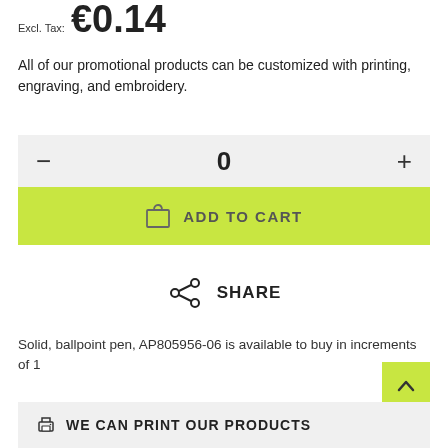Excl. Tax: €0.14
All of our promotional products can be customized with printing, engraving, and embroidery.
[Figure (other): Quantity selector widget with minus button, 0 value, and plus button on a grey background, followed by a yellow-green ADD TO CART button with shopping bag icon]
[Figure (other): Share button with share icon and SHARE label]
Solid, ballpoint pen, AP805956-06 is available to buy in increments of 1
[Figure (other): Back to top button (yellow-green square with upward chevron arrow)]
WE CAN PRINT OUR PRODUCTS